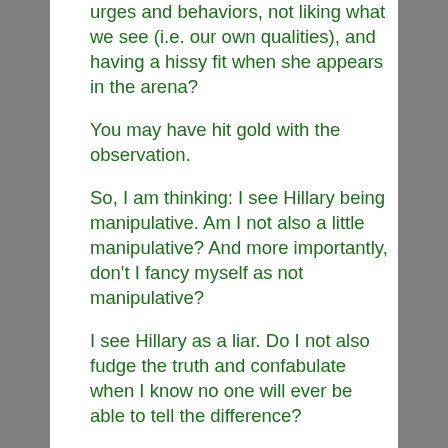urges and behaviors, not liking what we see (i.e. our own qualities), and having a hissy fit when she appears in the arena?
You may have hit gold with the observation.
So, I am thinking: I see Hillary being manipulative. Am I not also a little manipulative? And more importantly, don't I fancy myself as not manipulative?
I see Hillary as a liar. Do I not also fudge the truth and confabulate when I know no one will ever be able to tell the difference?